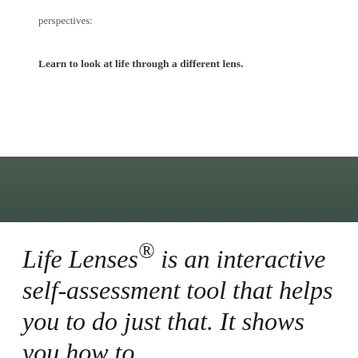perspectives:
Learn to look at life through a different lens.
[Figure (other): Dark olive/teal colored horizontal band spanning full page width]
Life Lenses® is an interactive self-assessment tool that helps you to do just that. It shows you how to